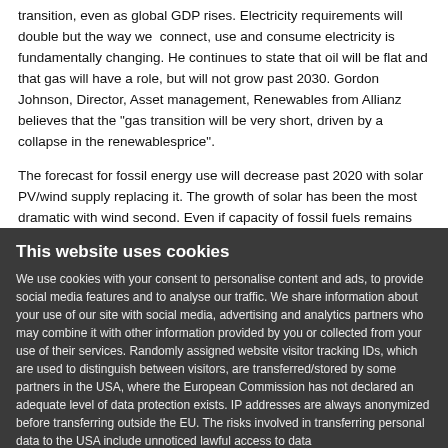He/She says that energy efficiency that will play the major part in the energy transition, even as global GDP rises. Electricity requirements will double but the way we connect, use and consume electricity is fundamentally changing. He continues to state that oil will be flat and that gas will have a role, but will not grow past 2030. Gordon Johnson, Director, Asset management, Renewables from Allianz believes that the "gas transition will be very short, driven by a collapse in the renewablesprice".
The forecast for fossil energy use will decrease past 2020 with solar PV/wind supply replacing it. The growth of solar has been the most dramatic with wind second. Even if capacity of fossil fuels remains the same, its use will be to manage peak demand rather than bulk generation, which is a massive shift. Abid Kazim of Next Energy Capital who runs the largest solar farm in the UK
This website uses cookies
We use cookies with your consent to personalise content and ads, to provide social media features and to analyse our traffic. We share information about your use of our site with social media, advertising and analytics partners who may combine it with other information provided by you or collected from your use of their services. Randomly assigned website visitor tracking IDs, which are used to distinguish between visitors, are transferred/stored by some partners in the USA, where the European Commission has not declared an adequate level of data protection exists. IP addresses are always anonymized before transferring outside the EU. The risks involved in transferring personal data to the USA include unnoticed lawful access to data